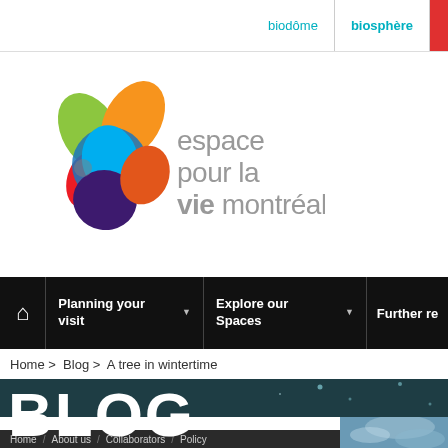biodôme | biosphère |
[Figure (logo): Espace pour la vie Montréal logo — colorful abstract leaf/petal shapes and text reading 'espace pour la vie montréal']
Planning your visit ▼  Explore our Spaces ▼  Further re
Home > Blog > A tree in wintertime
BLOG
Home / About us / Collaborators / Policy